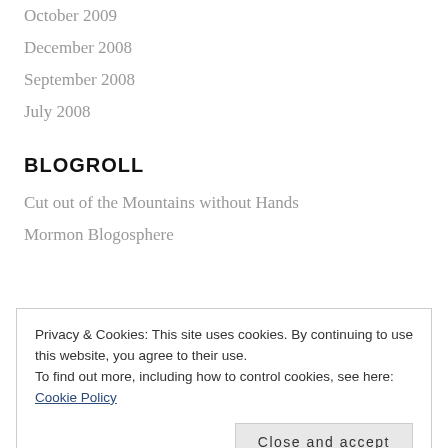October 2009
December 2008
September 2008
July 2008
BLOGROLL
Cut out of the Mountains without Hands
Mormon Blogosphere
Privacy & Cookies: This site uses cookies. By continuing to use this website, you agree to their use.
To find out more, including how to control cookies, see here: Cookie Policy
Close and accept